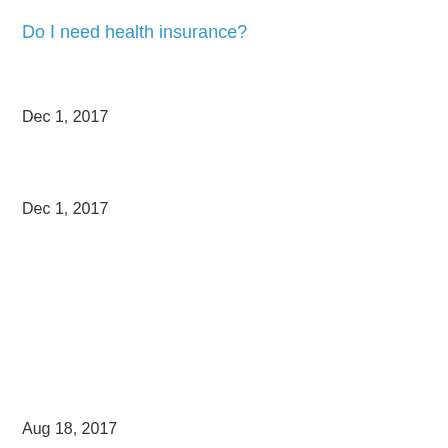Do I need health insurance?
Dec 1, 2017
Dec 1, 2017
Aug 18, 2017